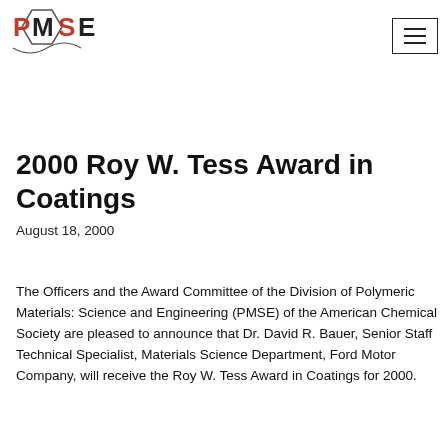PMSE [logo] | hamburger menu
2000 Roy W. Tess Award in Coatings
August 18, 2000
The Officers and the Award Committee of the Division of Polymeric Materials: Science and Engineering (PMSE) of the American Chemical Society are pleased to announce that Dr. David R. Bauer, Senior Staff Technical Specialist, Materials Science Department, Ford Motor Company, will receive the Roy W. Tess Award in Coatings for 2000.